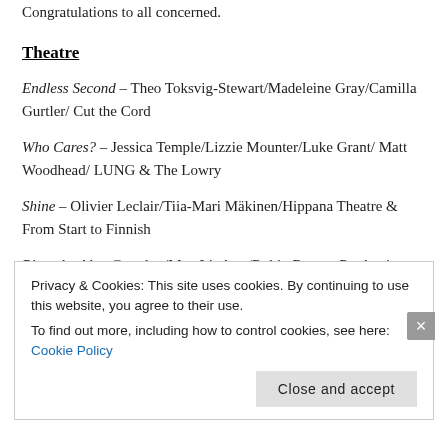Congratulations to all concerned.
Theatre
Endless Second – Theo Toksvig-Stewart/Madeleine Gray/Camilla Gurtler/ Cut the Cord
Who Cares? – Jessica Temple/Lizzie Mounter/Luke Grant/ Matt Woodhead/ LUNG & The Lowry
Shine – Olivier Leclair/Tiia-Mari Mäkinen/Hippana Theatre & From Start to Finnish
Ripped – Alex Gwyther/Max Lindsay/Robin Rayner Productions
Privacy & Cookies: This site uses cookies. By continuing to use this website, you agree to their use. To find out more, including how to control cookies, see here: Cookie Policy